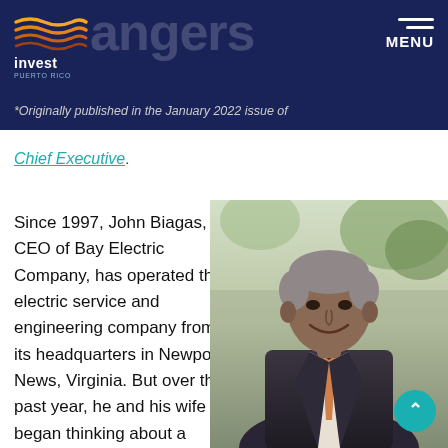angers
[Figure (logo): Invest Puerto Rico logo with orange/yellow wave lines above text]
*Originally published in the January 2022 issue of Chief Executive.
Since 1997, John Biagas, CEO of Bay Electric Company, has operated the electric service and engineering company from its headquarters in Newport News, Virginia. But over the past year, he and his wife began thinking about a change. They
[Figure (photo): Professional headshot of John Biagas, a middle-aged man in a dark suit with an orange tie, smiling outdoors with greenery in the background]